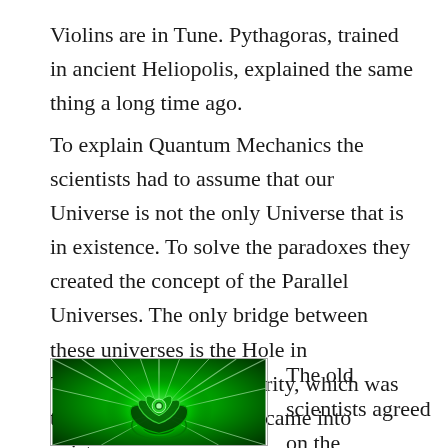Violins are in Tune. Pythagoras, trained in ancient Heliopolis, explained the same thing a long time ago.
To explain Quantum Mechanics the scientists had to assume that our Universe is not the only Universe that is in existence. To solve the paradoxes they created the concept of the Parallel Universes. The only bridge between these universes is the Hole in Time/Space, the Singularity, which was there before the Duality came into existence.
[Figure (illustration): Green glowing lotus/mandala illustration with radiating light beams on a dark green background]
The old scientists agreed on the